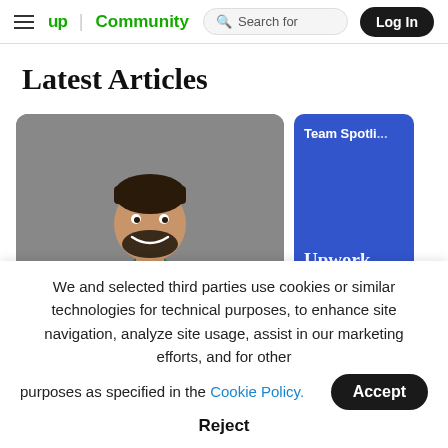up Community | Search for | Log In
Latest Articles
[Figure (photo): Man in grey blazer smiling against grey background]
[Figure (illustration): Blue card with 'Team Spotli...' tag and 'Upwork Acad...' title]
We and selected third parties use cookies or similar technologies for technical purposes, to enhance site navigation, analyze site usage, assist in our marketing efforts, and for other purposes as specified in the Cookie Policy.
Accept
Reject